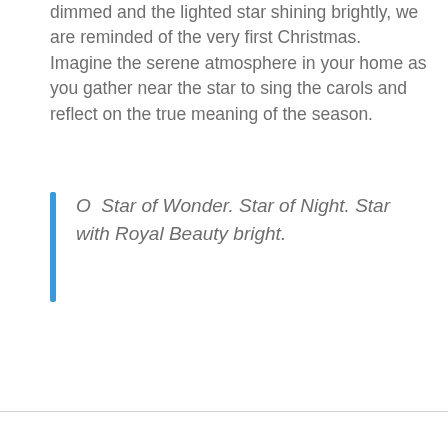dimmed and the lighted star shining brightly, we are reminded of the very first Christmas. Imagine the serene atmosphere in your home as you gather near the star to sing the carols and reflect on the true meaning of the season.
O  Star of Wonder. Star of Night. Star with Royal Beauty bright.